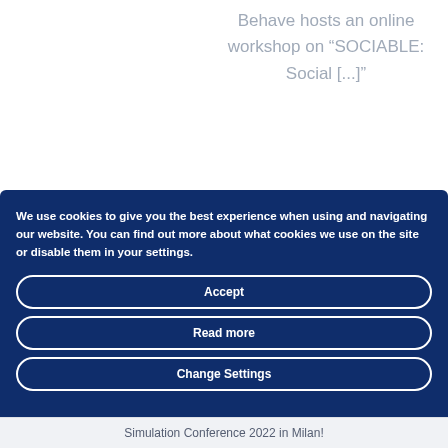Behave hosts an online workshop on "SOCIABLE: Social [...]
We use cookies to give you the best experience when using and navigating our website. You can find out more about what cookies we use on the site or disable them in your settings.
Accept
Read more
Change Settings
Simulation Conference 2022 in Milan!